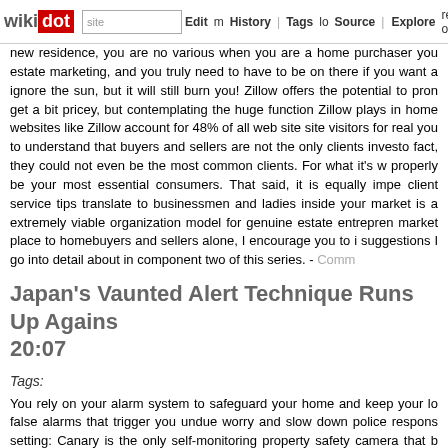wikidot | site | Edit | History | Tags | Source | Explore | Share on Twitter
new residence, you are no various when you are a home purchaser you estate marketing, and you truly need to have to be on there if you want a ignore the sun, but it will still burn you! Zillow offers the potential to pro get a bit pricey, but contemplating the huge function Zillow plays in home websites like Zillow account for 48% of all web site site visitors for real you to understand that buyers and sellers are not the only clients invest fact, they could not even be the most common clients. For what it's w properly be your most essential consumers. That said, it is equally imp client service tips translate to businessmen and ladies inside your market is a extremely viable organization model for genuine estate entrepren market place to homebuyers and sellers alone, I encourage you to i suggestions I go into detail about in component two of this series. - Comm
Japan's Vaunted Alert Technique Runs Up Agains 20:07
Tags:
You rely on your alarm system to safeguard your home and keep your lo false alarms that trigger you undue worry and slow down police respons setting: Canary is the only self-monitoring property safety camera that b camera off completely when you want to appreciate family time in private latch door locks. Most spring-latch locks can be pried open effortless prevention authorities recommend deadbolt locks, to supply the security lock need to extend at least one inch into the door frame to provide suf such as the pry-resistant rim lock, are obtainable. Ask your Crime Prev residence.Did you know that with your home alarm system, you can set d each and every member of your family members? This frequently-ov